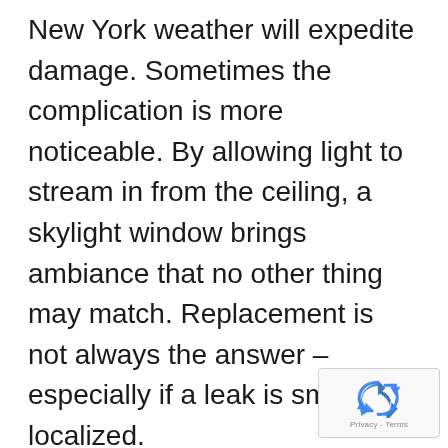New York weather will expedite damage. Sometimes the complication is more noticeable. By allowing light to stream in from the ceiling, a skylight window brings ambiance that no other thing may match. Replacement is not always the answer – especially if a leak is small and localized.

The window that makes up the skylight must be fitted correctly to the opening made for it. If the skylight fitting is not connected
[Figure (other): reCAPTCHA badge with spinning arrows icon and 'Privacy - Terms' text]